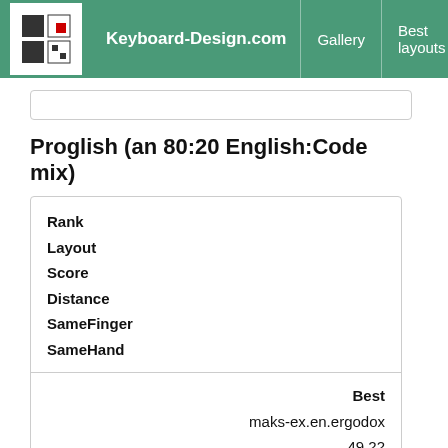Keyboard-Design.com | Gallery | Best layouts | Too
Proglish (an 80:20 English:Code mix)
|  | Best |
| --- | --- |
| Rank |  |
| Layout | maks-ex.en.ergodox |
| Score | 49.22 |
| Distance | 42.49 |
| SameFinger | 44.78 |
| SameHand | 51.55 |